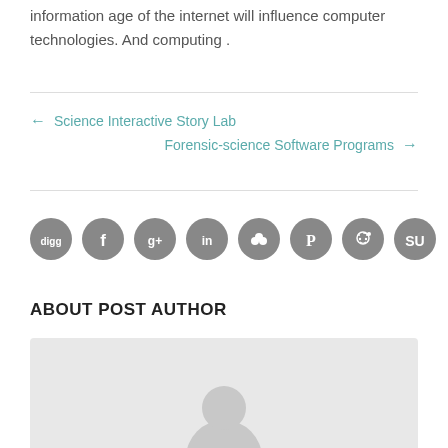information age of the internet will influence computer technologies. And computing .
← Science Interactive Story Lab
Forensic-science Software Programs →
[Figure (infographic): Row of 8 circular social media share icons in grey: Digg, Facebook, Google+, LinkedIn, Myspace, Pinterest, Reddit, StumbleUpon]
ABOUT POST AUTHOR
[Figure (photo): Light grey author avatar placeholder box with a generic person silhouette icon at the bottom center]